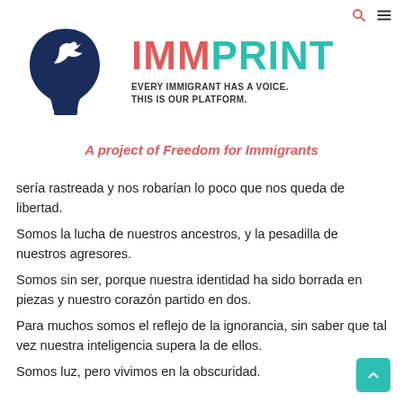[Figure (logo): IMMPrint logo: dark navy silhouette of a human head profile facing right with a white bird (dove) emerging from the mouth/forehead area]
IMMPRINT
EVERY IMMIGRANT HAS A VOICE. THIS IS OUR PLATFORM.
A project of Freedom for Immigrants
sería rastreada y nos robarían lo poco que nos queda de libertad.
Somos la lucha de nuestros ancestros, y la pesadilla de nuestros agresores.
Somos sin ser, porque nuestra identidad ha sido borrada en piezas y nuestro corazón partido en dos.
Para muchos somos el reflejo de la ignorancia, sin saber que tal vez nuestra inteligencia supera la de ellos.
Somos luz, pero vivimos en la obscuridad.